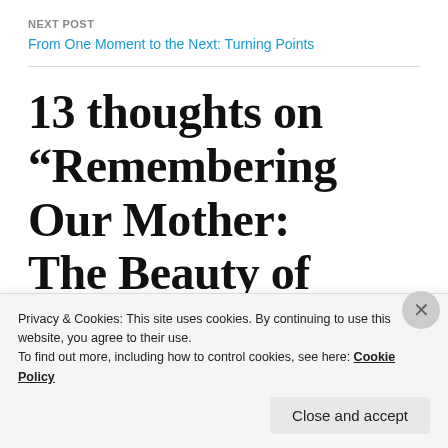NEXT POST
From One Moment to the Next: Turning Points
13 thoughts on “Remembering Our Mother: The Beauty of Earth”
John Osborn says:
April 12, 2017 at 9:34 am
Privacy & Cookies: This site uses cookies. By continuing to use this website, you agree to their use.
To find out more, including how to control cookies, see here: Cookie Policy
Close and accept